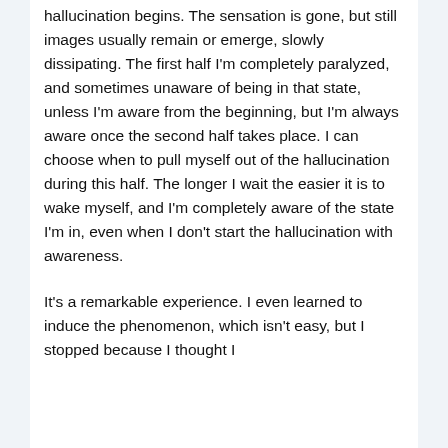hallucination begins. The sensation is gone, but still images usually remain or emerge, slowly dissipating. The first half I'm completely paralyzed, and sometimes unaware of being in that state, unless I'm aware from the beginning, but I'm always aware once the second half takes place. I can choose when to pull myself out of the hallucination during this half. The longer I wait the easier it is to wake myself, and I'm completely aware of the state I'm in, even when I don't start the hallucination with awareness.
It's a remarkable experience. I even learned to induce the phenomenon, which isn't easy, but I stopped because I thought I